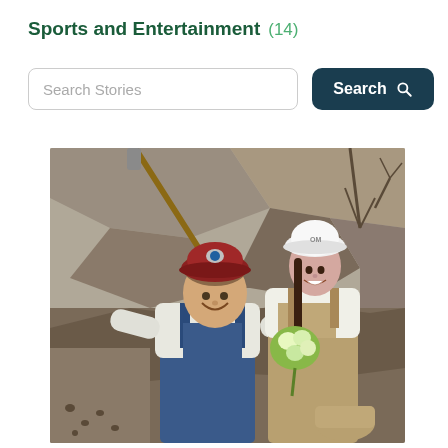Sports and Entertainment (14)
Search Stories
Search
[Figure (photo): A man and a woman posing outdoors on a rocky hillside. The man is wearing denim overalls, a white shirt, and a miner-style hard hat with a lamp. The woman is wearing a white shirt, khaki overalls, and a white hard hat, and is holding a bouquet of green and white flowers. There are bare trees and rocky terrain in the background.]